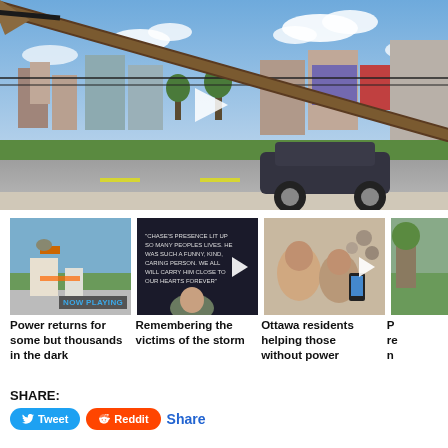[Figure (photo): A fallen utility pole / large wooden beam leaning diagonally across a road, resting on a dark sedan car. Urban background with buildings, trees, and a blue cloudy sky. A video play button is overlaid in the center.]
[Figure (photo): Thumbnail: Utility truck with crane on a street, workers in orange vests, trees around. NOW PLAYING badge visible.]
Power returns for some but thousands in the dark
[Figure (photo): Thumbnail: Dark background with white text quote about Chase, a young child visible at the bottom. Play button overlay.]
Remembering the victims of the storm
[Figure (photo): Thumbnail: Ottawa residents, a group of people, one holding a phone, indoors. Play button overlay.]
Ottawa residents helping those without power
[Figure (photo): Thumbnail (partially visible): Appears to be an outdoor scene, partially cropped.]
P... re... n...
SHARE:
Tweet  Reddit  Share